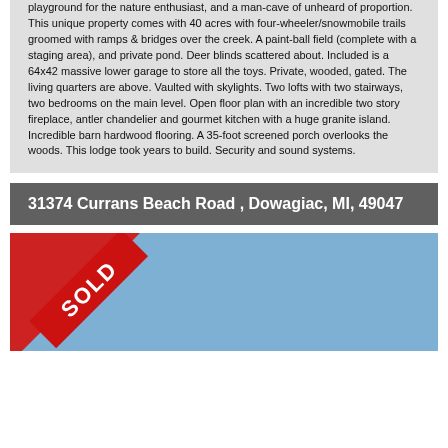playground for the nature enthusiast, and a man-cave of unheard of proportion. This unique property comes with 40 acres with four-wheeler/snowmobile trails groomed with ramps & bridges over the creek. A paint-ball field (complete with a staging area), and private pond. Deer blinds scattered about. Included is a 64x42 massive lower garage to store all the toys. Private, wooded, gated. The living quarters are above. Vaulted with skylights. Two lofts with two stairways, two bedrooms on the main level. Open floor plan with an incredible two story fireplace, antler chandelier and gourmet kitchen with a huge granite island. Incredible barn hardwood flooring. A 35-foot screened porch overlooks the woods. This lodge took years to build. Security and sound systems.
31374 Currans Beach Road , Dowagiac, MI, 49047
[Figure (photo): Property photo with a red SOLD ribbon banner in the upper-left corner over a blue sky background]